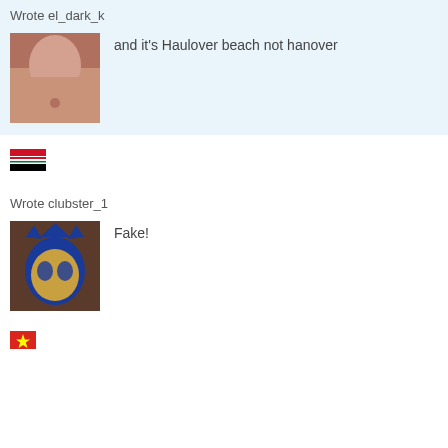Wrote el_dark_k
[Figure (photo): Avatar image of a person's torso, skin colored]
and it's Haulover beach not hanover
[Figure (illustration): Iraqi flag emoji]
Wrote clubster_1
[Figure (photo): Avatar image of Batman mask with skull face]
Fake!
[Figure (illustration): Vietnamese flag emoji]